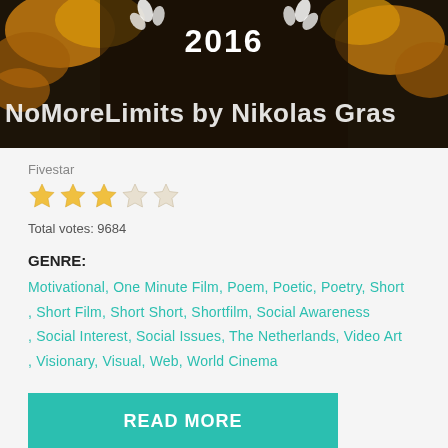[Figure (photo): Banner image showing autumn leaves background with white decorative leaf elements, year '2016' at top center, and text 'NoMoreLimits by Nikolas Gras' in large white letters across bottom.]
Fivestar
[Figure (other): Five-star rating widget showing 3 filled golden stars and 2 empty/outline stars.]
Total votes: 9684
GENRE:
Motivational, One Minute Film, Poem, Poetic, Poetry, Short, Short Film, Short Short, Shortfilm, Social Awareness, Social Interest, Social Issues, The Netherlands, Video Art, Visionary, Visual, Web, World Cinema
READ MORE